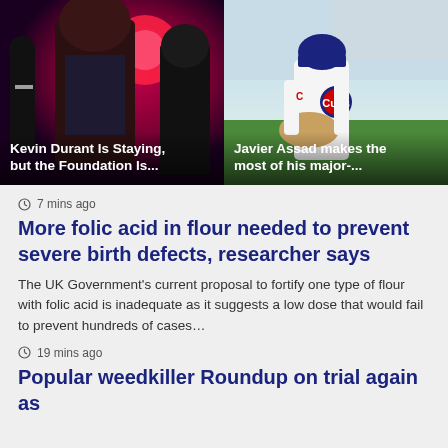[Figure (photo): Basketball players with dramatic red/pink background, Brooklyn Nets players including Kevin Durant]
Kevin Durant Is Staying, but the Foundation Is...
[Figure (photo): Chicago Cubs baseball player in uniform leaning over, stadium background]
Javier Assad makes the most of his major-...
7 mins ago
More folic acid in flour needed to prevent severe birth defects, researcher says
The UK Government's current proposal to fortify one type of flour with folic acid is inadequate as it suggests a low dose that would fail to prevent hundreds of cases…
19 mins ago
Popular weedkiller Roundup on trial again as